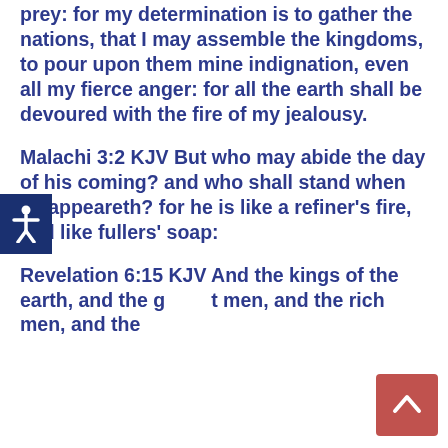prey: for my determination is to gather the nations, that I may assemble the kingdoms, to pour upon them mine indignation, even all my fierce anger: for all the earth shall be devoured with the fire of my jealousy.
Malachi 3:2 KJV But who may abide the day of his coming? and who shall stand when he appeareth? for he is like a refiner's fire, and like fullers' soap:
Revelation 6:15 KJV And the kings of the earth, and the great men, and the rich men, and the